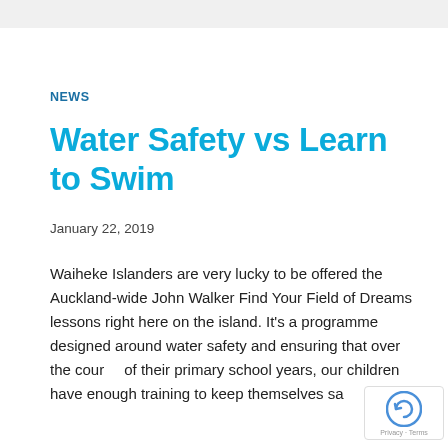NEWS
Water Safety vs Learn to Swim
January 22, 2019
Waiheke Islanders are very lucky to be offered the Auckland-wide John Walker Find Your Field of Dreams lessons right here on the island. It’s a programme designed around water safety and ensuring that over the course of their primary school years, our children have enough training to keep themselves safe.